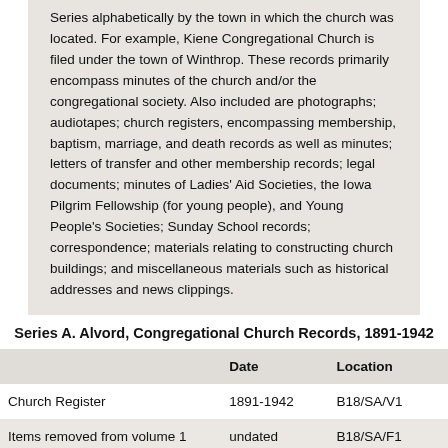Series alphabetically by the town in which the church was located. For example, Kiene Congregational Church is filed under the town of Winthrop. These records primarily encompass minutes of the church and/or the congregational society. Also included are photographs; audiotapes; church registers, encompassing membership, baptism, marriage, and death records as well as minutes; letters of transfer and other membership records; legal documents; minutes of Ladies' Aid Societies, the Iowa Pilgrim Fellowship (for young people), and Young People's Societies; Sunday School records; correspondence; materials relating to constructing church buildings; and miscellaneous materials such as historical addresses and news clippings.
Series A. Alvord, Congregational Church Records, 1891-1942
|  | Date | Location |
| --- | --- | --- |
| Church Register | 1891-1942 | B18/SA/V1 |
| Items removed from volume 1 | undated | B18/SA/F1 |
| Junior Christian Endeavor Society minutes | 1909-1913 | B18/SA/V2 |
| Financial journal | 1905-1908, | B18/SA/V3 |